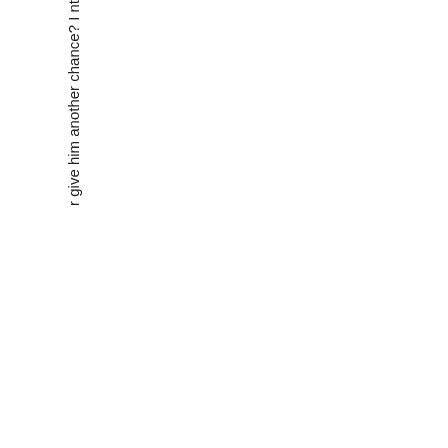r give him another chance? I nt